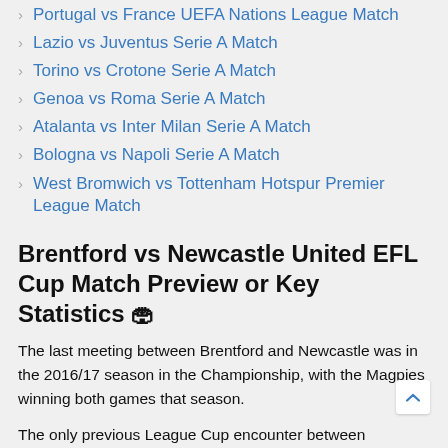Portugal vs France UEFA Nations League Match
Lazio vs Juventus Serie A Match
Torino vs Crotone Serie A Match
Genoa vs Roma Serie A Match
Atalanta vs Inter Milan Serie A Match
Bologna vs Napoli Serie A Match
West Bromwich vs Tottenham Hotspur Premier League Match
Brentford vs Newcastle United EFL Cup Match Preview or Key Statistics 🏟
The last meeting between Brentford and Newcastle was in the 2016/17 season in the Championship, with the Magpies winning both games that season.
The only previous League Cup encounter between Brentford